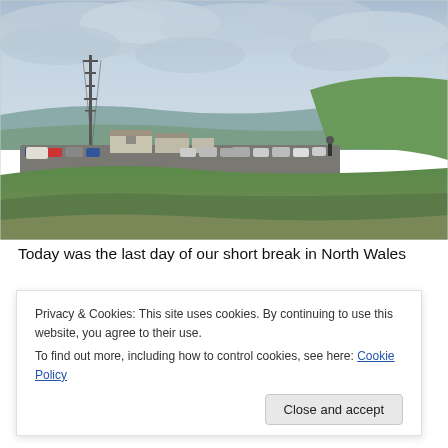[Figure (photo): Outdoor hilltop photo showing a car park with various vehicles, a tall communications mast on the left, small buildings, green grassy hillside on the right, and an overcast sky with grey clouds.]
Today was the last day of our short break in North Wales
Privacy & Cookies: This site uses cookies. By continuing to use this website, you agree to their use.
To find out more, including how to control cookies, see here: Cookie Policy
Close and accept
enjoyed the views from the car.  Parking up in the main car